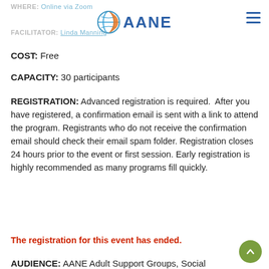WHERE: Online via Zoom
FACILITATOR: Linda Manning
COST: Free
CAPACITY: 30 participants
REGISTRATION: Advanced registration is required.  After you have registered, a confirmation email is sent with a link to attend the program. Registrants who do not receive the confirmation email should check their email spam folder. Registration closes 24 hours prior to the event or first session. Early registration is highly recommended as many programs fill quickly.
The registration for this event has ended.
AUDIENCE: AANE Adult Support Groups, Social